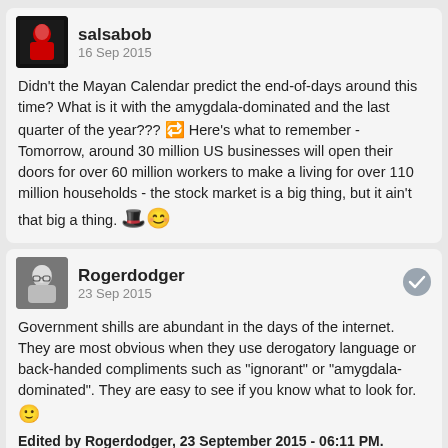salsabob
16 Sep 2015
Didn't the Mayan Calendar predict the end-of-days around this time? What is it with the amygdala-dominated and the last quarter of the year??? Here's what to remember - Tomorrow, around 30 million US businesses will open their doors for over 60 million workers to make a living for over 110 million households - the stock market is a big thing, but it ain't that big a thing.
Rogerdodger
23 Sep 2015
Government shills are abundant in the days of the internet. They are most obvious when they use derogatory language or back-handed compliments such as "ignorant" or "amygdala-dominated". They are easy to see if you know what to look for.
Edited by Rogerdodger, 23 September 2015 - 06:11 PM.
johngeorge
03 Feb 2016
Perhaps they meant 2016 because the railroads certainly aren't busy